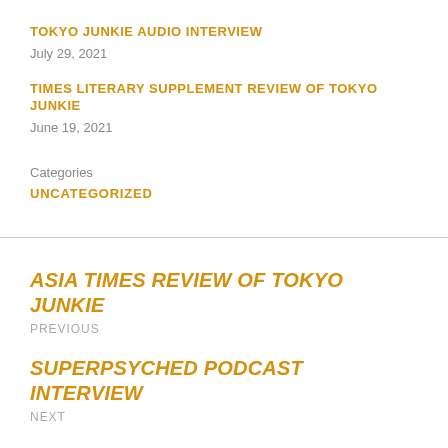TOKYO JUNKIE AUDIO INTERVIEW
July 29, 2021
TIMES LITERARY SUPPLEMENT REVIEW OF TOKYO JUNKIE
June 19, 2021
Categories
UNCATEGORIZED
ASIA TIMES REVIEW OF TOKYO JUNKIE
PREVIOUS
SUPERPSYCHED PODCAST INTERVIEW
NEXT